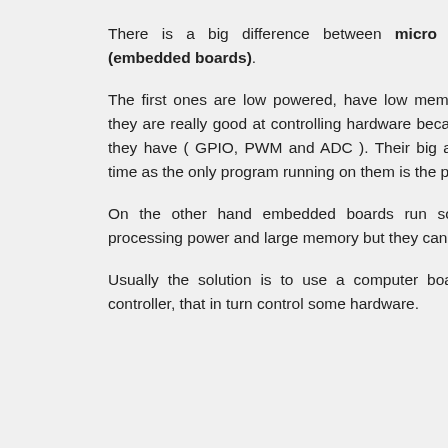There is a big difference between micro controllers and computers (embedded boards).
The first ones are low powered, have low memory and processing power but they are really good at controlling hardware because of the various type of pins they have ( GPIO, PWM and ADC ). Their big advantage is that they are real time as the only program running on them is the program you wrote.
On the other hand embedded boards run some OS and have a bigger processing power and large memory but they cannot really control hardware.
Usually the solution is to use a computer board to get data from a micro controller, that in turn control some hardware.